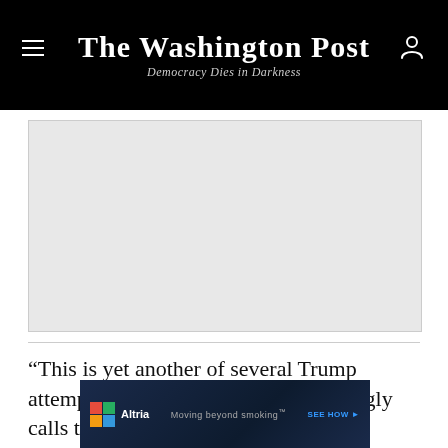The Washington Post — Democracy Dies in Darkness
[Figure (photo): Gray placeholder image area for an article photograph]
“This is yet another of several Trump attempts to change what he disparagingly calls the policy of ‘catch and release’ without or against legal authority,” said
[Figure (other): Altria advertisement banner: 'Moving beyond smoking — SEE HOW']